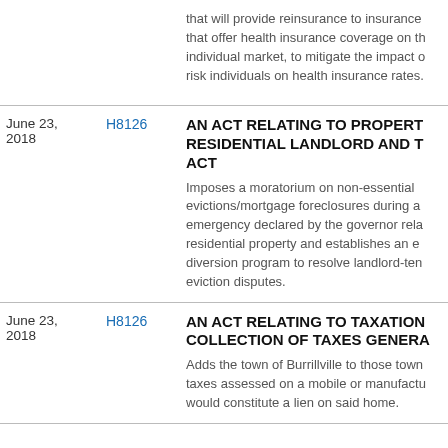that will provide reinsurance to insurance that offer health insurance coverage on the individual market, to mitigate the impact of risk individuals on health insurance rates.
June 23, 2018
H8126
AN ACT RELATING TO PROPERTY-- RESIDENTIAL LANDLORD AND TENANT ACT
Imposes a moratorium on non-essential evictions/mortgage foreclosures during a emergency declared by the governor relating to residential property and establishes an eviction diversion program to resolve landlord-tenant eviction disputes.
June 23, 2018
H8126
AN ACT RELATING TO TAXATION-- COLLECTION OF TAXES GENERALLY
Adds the town of Burrillville to those towns where taxes assessed on a mobile or manufactured home would constitute a lien on said home.